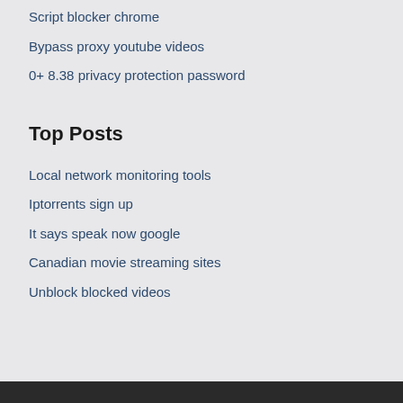Script blocker chrome
Bypass proxy youtube videos
0+ 8.38 privacy protection password
Top Posts
Local network monitoring tools
Iptorrents sign up
It says speak now google
Canadian movie streaming sites
Unblock blocked videos